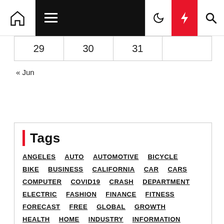Navigation bar with home, menu, moon, bolt, and search icons
| 29 | 30 | 31 |  |
« Jun
Tags
ANGELES AUTO AUTOMOTIVE BICYCLE BIKE BUSINESS CALIFORNIA CAR CARS COMPUTER COVID19 CRASH DEPARTMENT ELECTRIC FASHION FINANCE FITNESS FORECAST FREE GLOBAL GROWTH HEALTH HOME INDUSTRY INFORMATION LOS MAN MARKET POLICE PUBLIC REPAIR REPORT SALE SALES SERVICE